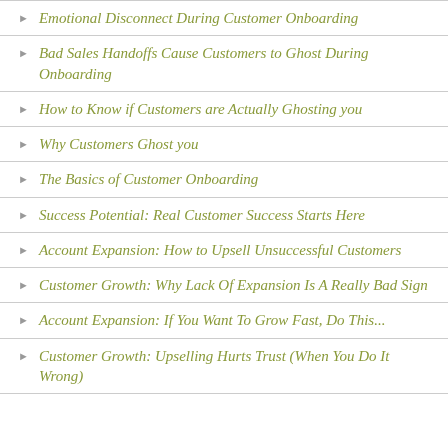Emotional Disconnect During Customer Onboarding
Bad Sales Handoffs Cause Customers to Ghost During Onboarding
How to Know if Customers are Actually Ghosting you
Why Customers Ghost you
The Basics of Customer Onboarding
Success Potential: Real Customer Success Starts Here
Account Expansion: How to Upsell Unsuccessful Customers
Customer Growth: Why Lack Of Expansion Is A Really Bad Sign
Account Expansion: If You Want To Grow Fast, Do This...
Customer Growth: Upselling Hurts Trust (When You Do It Wrong)